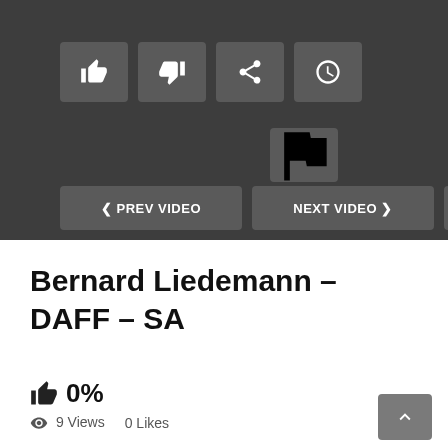[Figure (screenshot): Video player controls UI on dark background: thumbs up, thumbs down, share, watch later icon buttons; flag icon button; PREV VIDEO, NEXT VIDEO, MORE VIDEOS navigation buttons]
Bernard Liedemann – DAFF – SA
👍 0%
👁 9 Views   0 Likes